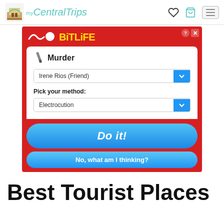My CentralTrips
[Figure (screenshot): BitLife mobile game advertisement showing a 'Murder' screen with a dropdown for 'Irene Rios (Friend)', a 'Pick your method: Electrocution' dropdown, a blue 'Do it!' button, and a 'No, what am I thinking?' button, all on a red background.]
Best Tourist Places